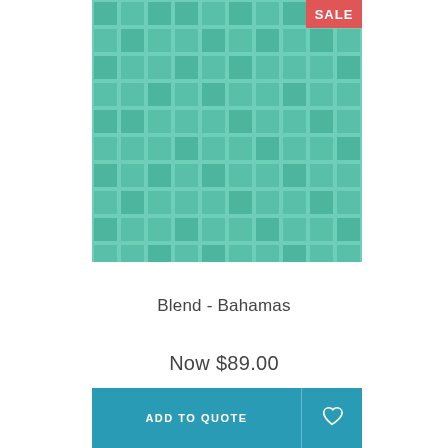[Figure (photo): Mosaic tile product photo showing a grid pattern of teal/green square tiles with a SALE badge in the top-right corner]
Blend - Bahamas
Now $89.00
ADD TO QUOTE